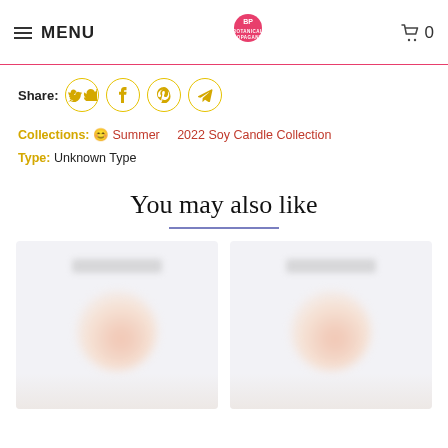MENU | BOTANICAL PROPAGANDA | 0
Share:
Collections: 😊 Summer   2022 Soy Candle Collection
Type: Unknown Type
You may also like
[Figure (photo): Two blurred product images (candles) side by side in light gray/pink product cards]